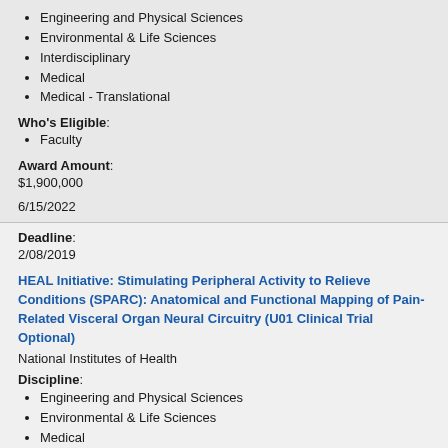Engineering and Physical Sciences
Environmental & Life Sciences
Interdisciplinary
Medical
Medical - Translational
Who's Eligible:
Faculty
Award Amount:
$1,900,000
6/15/2022
Deadline:
2/08/2019
HEAL Initiative: Stimulating Peripheral Activity to Relieve Conditions (SPARC): Anatomical and Functional Mapping of Pain-Related Visceral Organ Neural Circuitry (U01 Clinical Trial Optional)
National Institutes of Health
Discipline:
Engineering and Physical Sciences
Environmental & Life Sciences
Medical
Medical - Basic Science
Medical - Clinical Science